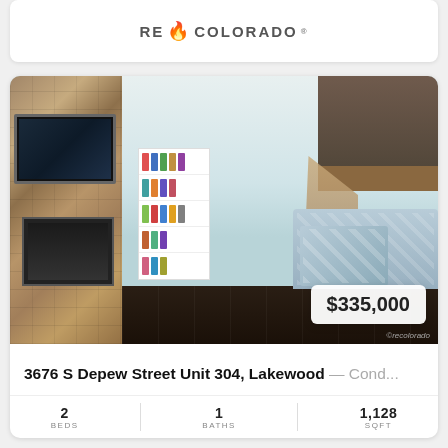[Figure (logo): REcolorado logo with flame icon]
[Figure (photo): Interior living room photo of 3676 S Depew Street Unit 304, Lakewood condo showing stone fireplace wall with mounted TV, white bookshelves, blue sofa, ottoman, dark wood floors, loft railing, and staircase. Price badge showing $335,000 in lower right corner.]
3676 S Depew Street Unit 304, Lakewood — Cond...
2 BEDS   1 BATHS   1,128 SQFT